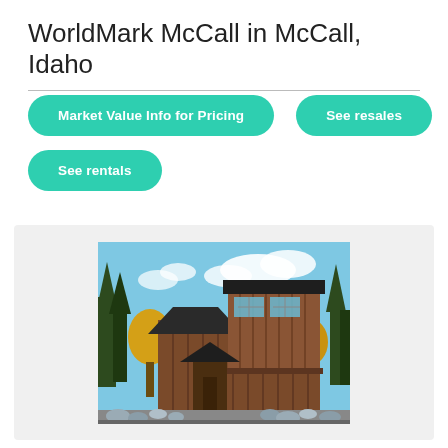WorldMark McCall in McCall, Idaho
Market Value Info for Pricing
See resales
See rentals
[Figure (photo): Exterior photo of WorldMark McCall resort building, a two-story brown wooden structure with evergreen and yellow trees, stone landscaping in foreground, blue sky with clouds in background.]